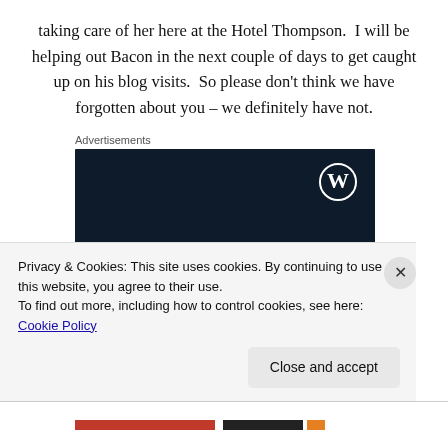taking care of her here at the Hotel Thompson.  I will be helping out Bacon in the next couple of days to get caught up on his blog visits.  So please don't think we have forgotten about you – we definitely have not.
Advertisements
[Figure (illustration): Dark navy blue advertisement banner with WordPress logo (W in a circle) in the top right corner. Text reads 'Opinions.' in normal weight and 'We all have them!' in bold, both in white.]
Privacy & Cookies: This site uses cookies. By continuing to use this website, you agree to their use.
To find out more, including how to control cookies, see here: Cookie Policy
Close and accept